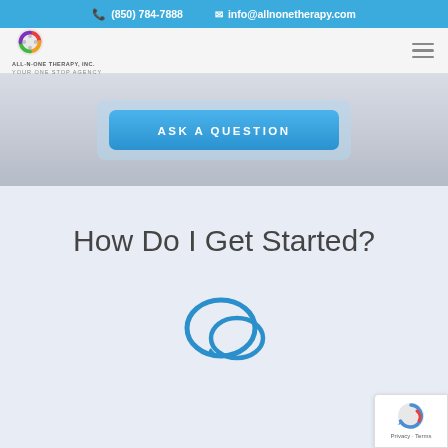(850) 784-7888  info@allnonetherapy.com
[Figure (logo): All-N-One Therapy, Inc. logo with colorful circular icon and tagline 'YOUR ONE STOP AGENCY']
ASK A QUESTION
How Do I Get Started?
[Figure (illustration): Speech bubble / chat icon in blue]